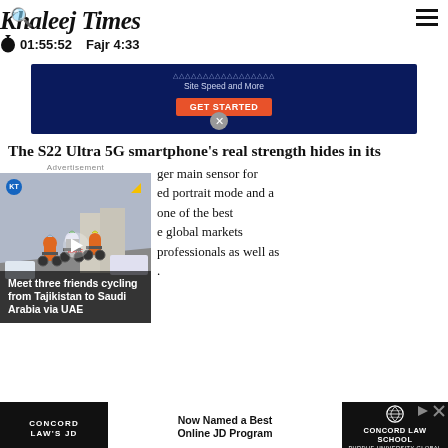Khaleej Times  01:55:52  Fajr 4:33
[Figure (screenshot): Dark blue advertisement banner: 'Site Speed and More' with orange GET STARTED button]
The S22 Ultra 5G smartphone's real strength hides in its
ger main sensor for ed portrait mode and a one of the best e global markets professionals as well as .
[Figure (photo): Video thumbnail showing three cyclists in orange gear riding on a road in Tajikistan/UAE, with overlay text: 'Meet three friends cycling from Tajikistan to Saudi Arabia via UAE'. Khaleej Times KT badge in top-left. Play button in center. Advertisement label above.]
[Figure (screenshot): Bottom advertisement: CONCORD LAW'S JD - Now Named a Best Online JD Program - CONCORD LAW SCHOOL PURDUE UNIVERSITY GLOBAL]